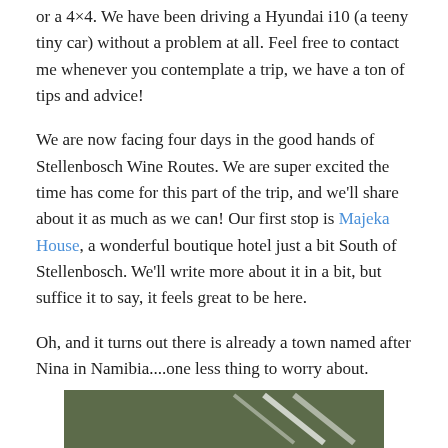or a 4×4. We have been driving a Hyundai i10 (a teeny tiny car) without a problem at all. Feel free to contact me whenever you contemplate a trip, we have a ton of tips and advice!
We are now facing four days in the good hands of Stellenbosch Wine Routes. We are super excited the time has come for this part of the trip, and we'll share about it as much as we can! Our first stop is Majeka House, a wonderful boutique hotel just a bit South of Stellenbosch. We'll write more about it in a bit, but suffice it to say, it feels great to be here.
Oh, and it turns out there is already a town named after Nina in Namibia....one less thing to worry about.
[Figure (photo): Partial view of a green road sign with white diagonal stripe]